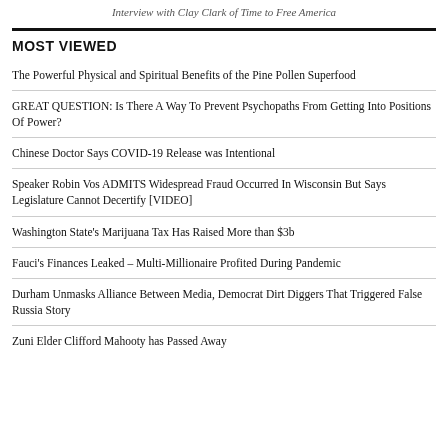Interview with Clay Clark of Time to Free America
MOST VIEWED
The Powerful Physical and Spiritual Benefits of the Pine Pollen Superfood
GREAT QUESTION: Is There A Way To Prevent Psychopaths From Getting Into Positions Of Power?
Chinese Doctor Says COVID-19 Release was Intentional
Speaker Robin Vos ADMITS Widespread Fraud Occurred In Wisconsin But Says Legislature Cannot Decertify [VIDEO]
Washington State's Marijuana Tax Has Raised More than $3b
Fauci's Finances Leaked – Multi-Millionaire Profited During Pandemic
Durham Unmasks Alliance Between Media, Democrat Dirt Diggers That Triggered False Russia Story
Zuni Elder Clifford Mahooty has Passed Away